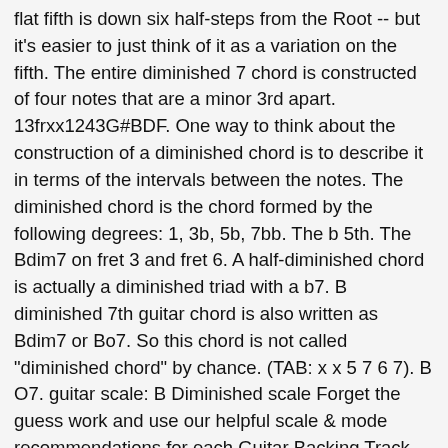flat fifth is down six half-steps from the Root -- but it's easier to just think of it as a variation on the fifth. The entire diminished 7 chord is constructed of four notes that are a minor 3rd apart. 13frxx1243G#BDF. One way to think about the construction of a diminished chord is to describe it in terms of the intervals between the notes. The diminished chord is the chord formed by the following degrees: 1, 3b, 5b, 7bb. The b 5th. The Bdim7 on fret 3 and fret 6. A half-diminished chord is actually a diminished triad with a b7. B diminished 7th guitar chord is also written as Bdim7 or Bo7. So this chord is not called "diminished chord" by chance. (TAB: x x 5 7 6 7). B O7. guitar scale: B Diminished scale Forget the guess work and use our helpful scale & mode recommendations for each Guitar Backing Track. Take your time with them. 1frx11243Barre 3 with Finger 1FG#BDF. swap a G7 chord for a G sharp diminished 7th). B diminished 7th chord. The Bo chord can also be known as B diminished, B dim chord We are only showing you a handful of chord charts for this voicing. How to Insert Diminished Chords into Diatonic Chord Progressions. The traditional approach of